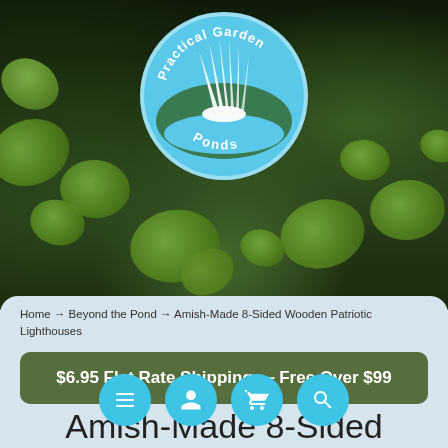[Figure (logo): Practical Garden Ponds circular logo with blue background, white stylized water/landscape design, text 'Practical Garden Ponds' around the circle]
[Figure (photo): Lily pad pond photograph used as hero header background with dark water and green lily pads]
Home → Beyond the Pond → Amish-Made 8-Sided Wooden Patriotic Lighthouses
$6.95 Flat Rate Shipping — Free Over $99
Amish-Made 8-Sided Wooden Patriotic